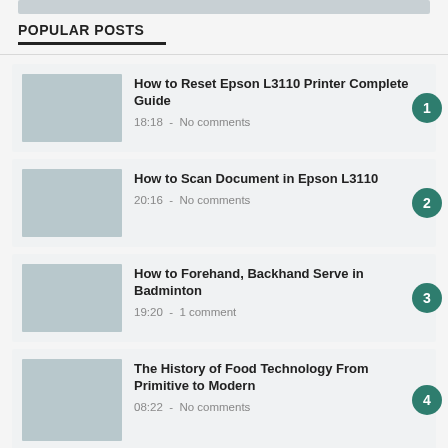[Figure (other): Decorative top bar/image placeholder]
POPULAR POSTS
How to Reset Epson L3110 Printer Complete Guide
18:18 - No comments
How to Scan Document in Epson L3110
20:16 - No comments
How to Forehand, Backhand Serve in Badminton
19:20 - 1 comment
The History of Food Technology From Primitive to Modern
08:22 - No comments
How to Scan using Canon G3010 Very Easy
18:44 - No comments